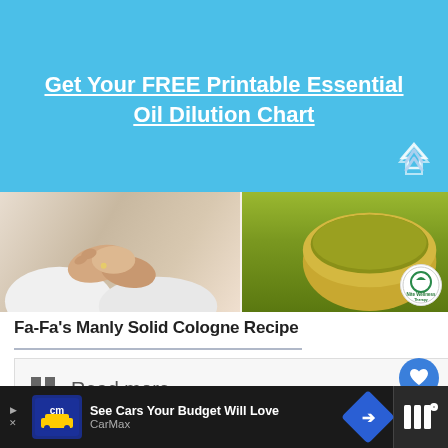Get Your FREE Printable Essential Oil Dilution Chart
[Figure (photo): Photo strip showing hands massage on left and a bowl of green/olive oil on right with a circular logo watermark]
Fa-Fa's Manly Solid Cologne Recipe
Read more
[Figure (photo): Photo of rose-shaped solid cologne bars in pink and orange/tan colors on a wooden surface, with WHAT'S NEXT panel showing How to Use Peppermint...]
[Figure (infographic): Advertisement bar: See Cars Your Budget Will Love - CarMax]